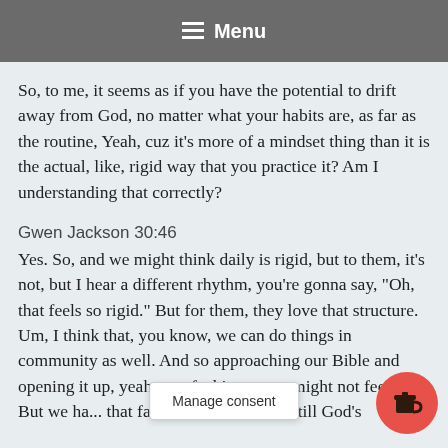Menu
So, to me, it seems as if you have the potential to drift away from God, no matter what your habits are, as far as the routine, Yeah, cuz it's more of a mindset thing than it is the actual, like, rigid way that you practice it? Am I understanding that correctly?
Gwen Jackson 30:46
Yes. So, and we might think daily is rigid, but to them, it's not, but I hear a different rhythm, you're gonna say, "Oh, that feels so rigid." But for them, they love that structure. Um, I think that, you know, we can do things in community as well. And so approaching our Bible and opening it up, yeah may feel joy or we might not feel joy. But we ha... that faith...ance that we're still God's
Manage consent